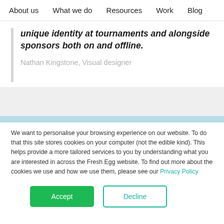About us   What we do   Resources   Work   Blog
unique identity at tournaments and alongside sponsors both on and offline.
Nathan Kingstone, Visual designer
We want to personalise your browsing experience on our website. To do that this site stores cookies on your computer (not the edible kind). This helps provide a more tailored services to you by understanding what you are interested in across the Fresh Egg website. To find out more about the cookies we use and how we use them, please see our Privacy Policy
Accept
Decline